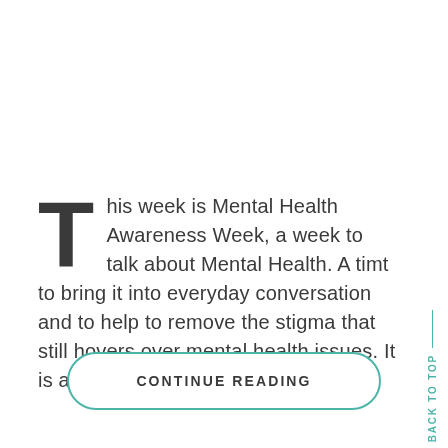This week is Mental Health Awareness Week, a week to talk about Mental Health. A timt to bring it into everyday conversation and to help to remove the stigma that still hovers over mental health issues. It is also a...
CONTINUE READING
BACK TO TOP